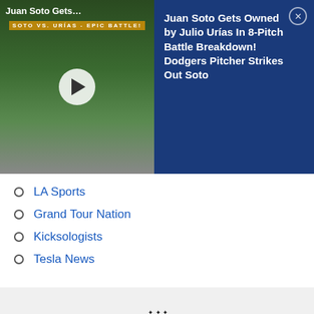[Figure (screenshot): Video thumbnail showing baseball players (Juan Soto vs Julio Urías), with a play button overlay and 'Epic Battle' banner text. Dark background.]
Juan Soto Gets Owned by Julio Urías In 8-Pitch Battle Breakdown! Dodgers Pitcher Strikes Out Soto
LA Sports
Grand Tour Nation
Kicksologists
Tesla News
[Figure (logo): Dodgers Nation logo — stylized text 'DODGERS NATION' with a baseball diamond emblem in the center]
The Official Site of Dodgers Nation